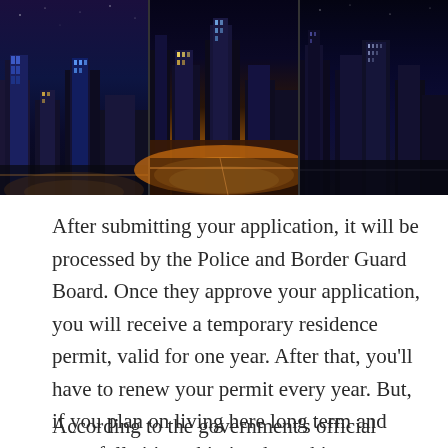[Figure (photo): A composite strip of three nighttime city skyline photographs side by side, showing illuminated skyscrapers and city streets at night with blue and orange lighting.]
After submitting your application, it will be processed by the Police and Border Guard Board. Once they approve your application, you will receive a temporary residence permit, valid for one year. After that, you'll have to renew your permit every year. But, if you plan on living here long term and want full citizenship is where things get a little bit more complicated.
According to the government's official website, it can take up to twelve years before an individual